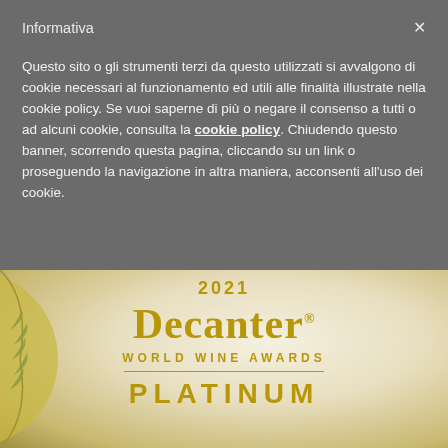Informativa
Questo sito o gli strumenti terzi da questo utilizzati si avvalgono di cookie necessari al funzionamento ed utili alle finalità illustrate nella cookie policy. Se vuoi saperne di più o negare il consenso a tutti o ad alcuni cookie, consulta la cookie policy. Chiudendo questo banner, scorrendo questa pagina, cliccando su un link o proseguendo la navigazione in altra maniera, acconsenti all'uso dei cookie.
[Figure (logo): Decanter World Wine Awards 2021 Platinum medal badge — circular gold and cream award seal showing '2021', 'Decanter', 'WORLD WINE AWARDS', and 'PLATINUM' text in gold on a cream/gold background with olive branch ribbon on the left side.]